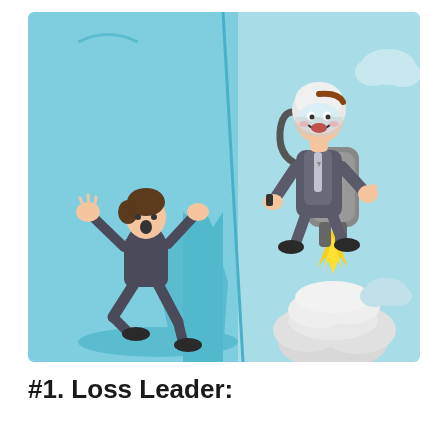[Figure (illustration): A split illustration showing two cartoon businessmen. On the left (darker teal background), a man in a suit is falling/flailing with arms raised, looking distressed. On the right (lighter teal background), a man in a suit with a white helmet is flying upward using a jetpack with yellow flame and white smoke/clouds below. A Marketing91 logo badge is visible in the bottom right of the illustration.]
#1. Loss Leader: